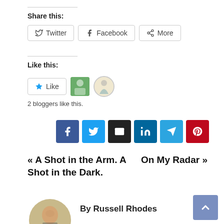Share this:
Twitter | Facebook | More
Like this:
Like | 2 bloggers like this.
[Figure (infographic): Social share icon buttons: Facebook (blue), Twitter (light blue), Email (dark), LinkedIn (blue), Telegram (teal), Pinterest (red)]
« A Shot in the Arm. A Shot in the Dark.
On My Radar »
By Russell Rhodes
[Figure (photo): Circular headshot of Russell Rhodes, an older man in a blue shirt and dark tie, smiling, indoors]